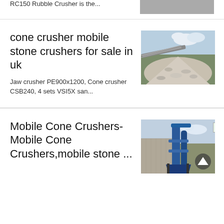RC150 Rubble Crusher is the...
cone crusher mobile stone crushers for sale in uk
Jaw crusher PE900x1200, Cone crusher CSB240, 4 sets VSI5X san...
[Figure (photo): Pile of crushed stone aggregate with a conveyor belt in the background outdoors]
Mobile Cone Crushers-Mobile Cone Crushers,mobile stone ...
[Figure (photo): Industrial mobile cone crusher machine with blue piping and equipment outdoors]